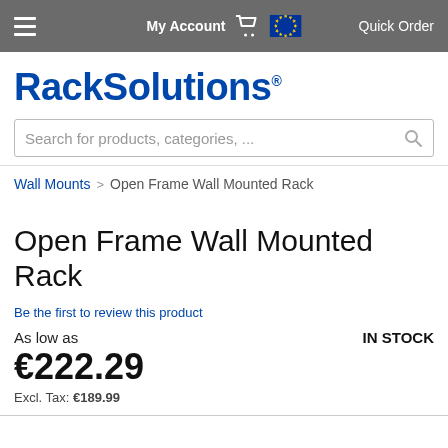My Account  Quick Order
[Figure (logo): RackSolutions logo in bold blue text]
Search for products, categories, ...
Wall Mounts > Open Frame Wall Mounted Rack
Open Frame Wall Mounted Rack
Be the first to review this product
As low as    IN STOCK
€222.29
Excl. Tax: €189.99